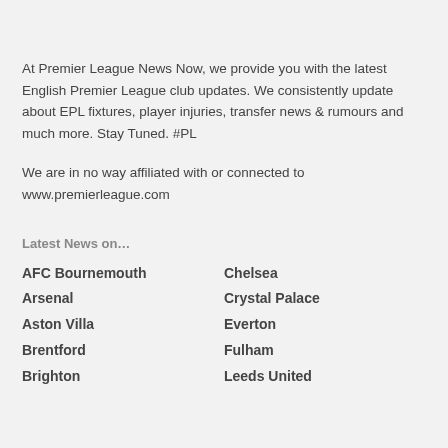At Premier League News Now, we provide you with the latest English Premier League club updates. We consistently update about EPL fixtures, player injuries, transfer news & rumours and much more. Stay Tuned. #PL
We are in no way affiliated with or connected to www.premierleague.com
Latest News on…
AFC Bournemouth
Arsenal
Aston Villa
Brentford
Brighton
Chelsea
Crystal Palace
Everton
Fulham
Leeds United